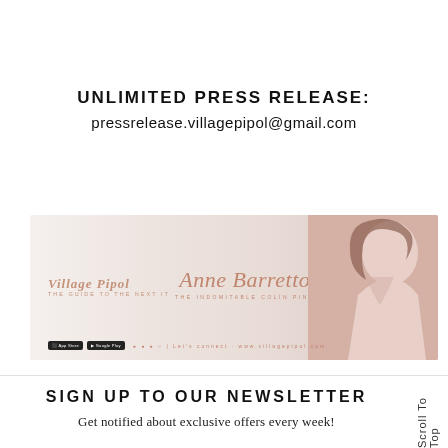UNLIMITED PRESS RELEASE:
pressrelease.villagepipol@gmail.com
[Figure (illustration): Village Pipol banner featuring Anne Barretto with signature script text, logo, app store badges, social icons, and a portrait photo. Includes the number 14.]
SIGN UP TO OUR NEWSLETTER
Get notified about exclusive offers every week!